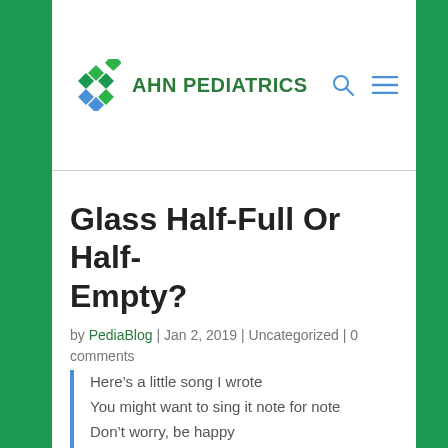AHN PEDIATRICS
Glass Half-Full Or Half-Empty?
by PediaBlog | Jan 2, 2019 | Uncategorized | 0 comments
Here’s a little song I wrote
You might want to sing it note for note
Don’t worry, be happy
In every life we have some trouble
But when you worry you make it double